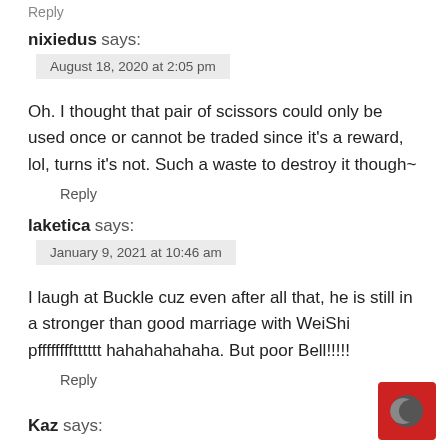Reply
nixiedus says:
August 18, 2020 at 2:05 pm
Oh. I thought that pair of scissors could only be used once or cannot be traded since it's a reward, lol, turns it's not. Such a waste to destroy it though~
Reply
laketica says:
January 9, 2021 at 10:46 am
I laugh at Buckle cuz even after all that, he is still in a stronger than good marriage with WeiShi pfffffffftttttt hahahahahaha. But poor Bell!!!!!
Reply
Kaz says: